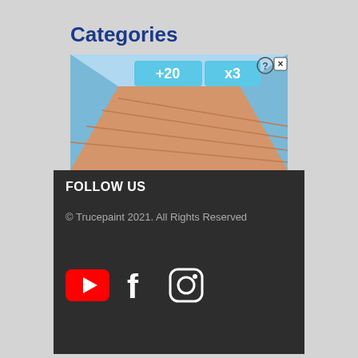Categories
[Figure (screenshot): Game screenshot showing a bowling alley lane with power-up tiles displaying '+20' and 'x3', with close/help buttons in the top right corner]
FOLLOW US
© Trucepaint 2021. All Rights Reserved
[Figure (infographic): Social media icons: YouTube (red play button), Facebook (white f), Instagram (camera outline)]